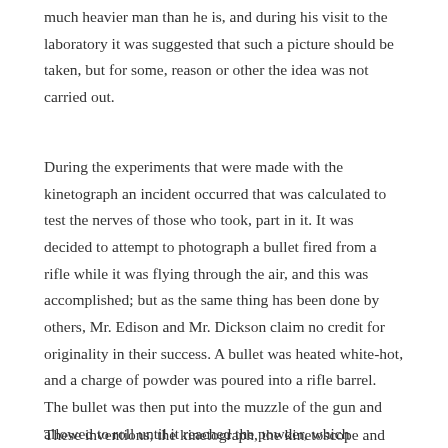much heavier man than he is, and during his visit to the laboratory it was suggested that such a picture should be taken, but for some, reason or other the idea was not carried out.
During the experiments that were made with the kinetograph an incident occurred that was calculated to test the nerves of those who took, part in it. It was decided to attempt to photograph a bullet fired from a rifle while it was flying through the air, and this was accomplished; but as the same thing has been done by others, Mr. Edison and Mr. Dickson claim no credit for originality in their success. A bullet was heated white-hot, and a charge of powder was poured into a rifle barrel. The bullet was then put into the muzzle of the gun and allowed to roll until it reached the powder, which instantly ignited and sent the ball flying through the room within range of the kinetograph. This delicate operation had to be repeated three times before a good impression could be obtained, and, as may be imagined, it was mighty ticklish business.
These inventions, the kinetograph, the kinetoscope and the phono-